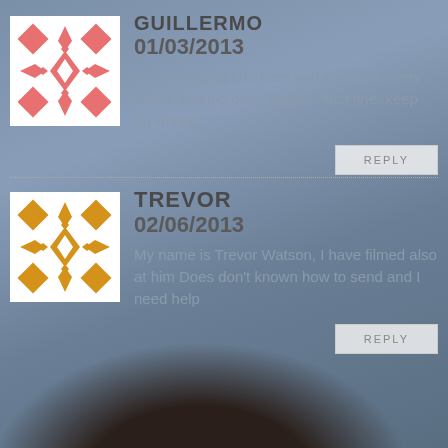[Figure (illustration): Avatar icon for Guillermo — salmon/pink geometric snowflake/cross pattern on white square background]
GUILLERMO
01/03/2013
Hi, all is going fine here and ofcourse every one is sharing data, that's in fact fine, keep up writing.
REPLY
[Figure (illustration): Avatar icon for Trevor — golden/orange geometric snowflake/cross pattern on white square background]
TREVOR
02/06/2013
My name is Trevor Watson, I have filmed also at him Does don't known how to send and I need help
REPLY